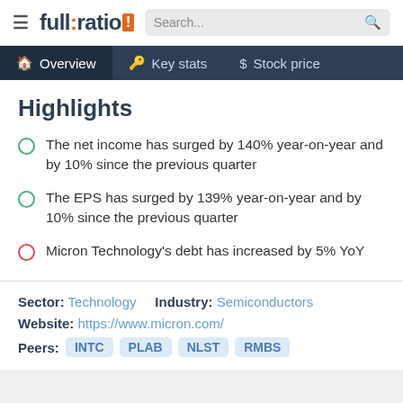full:ratio! Search...
Overview | Key stats | Stock price
Highlights
The net income has surged by 140% year-on-year and by 10% since the previous quarter
The EPS has surged by 139% year-on-year and by 10% since the previous quarter
Micron Technology's debt has increased by 5% YoY
Sector: Technology   Industry: Semiconductors
Website: https://www.micron.com/
Peers: INTC PLAB NLST RMBS